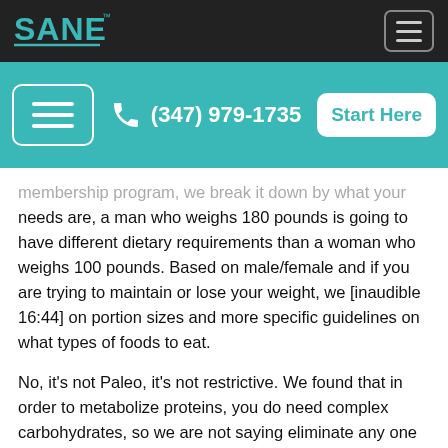SANE logo and navigation bar
(347) 979-1735 | Start Here
membership program, we break it down by what your needs are, a man who weighs 180 pounds is going to have different dietary requirements than a woman who weighs 100 pounds. Based on male/female and if you are trying to maintain or lose your weight, we [inaudible 16:44] on portion sizes and more specific guidelines on what types of foods to eat.
No, it's not Paleo, it's not restrictive. We found that in order to metabolize proteins, you do need complex carbohydrates, so we are not saying eliminate any one type of food, but we are giving you guidelines on portion sizes because people do sometimes have a